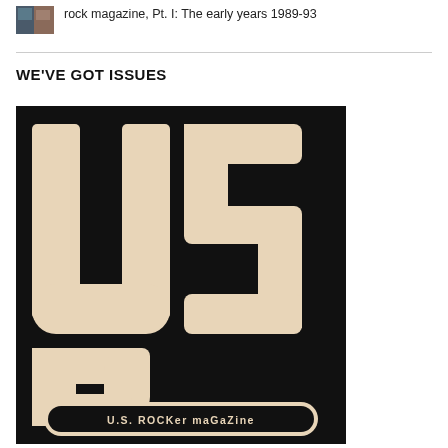rock magazine, Pt. I: The early years 1989-93
WE'VE GOT ISSUES
[Figure (logo): USR - U.S. Rocker magazine logo: large bold letters 'USR' in cream/beige on black background, with 'U.S. ROCKER magazine' text in a rounded rectangle banner at the bottom]